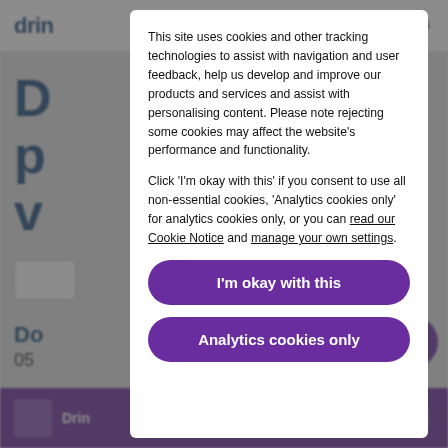This site uses cookies and other tracking technologies to assist with navigation and user feedback, help us develop and improve our products and services and assist with personalising content. Please note rejecting some cookies may affect the website's performance and functionality.
Click ‘I’m okay with this’ if you consent to use all non-essential cookies, ‘Analytics cookies only’ for analytics cookies only, or you can read our Cookie Notice and manage your own settings.
I'm okay with this
Analytics cookies only